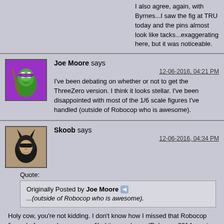I also agree, again, with Byrnes...I saw the fig at TRU today and the pins almost look like tacks...exaggerating here, but it was noticeable.
Joe Moore says
12-06-2016, 04:21 PM
I've been debating on whether or not to get the ThreeZero version. I think it looks stellar. I've been disappointed with most of the 1/6 scale figures I've handled (outside of Robocop who is awesome).
Skoob says
12-06-2016, 04:34 PM
Quote:
Originally Posted by Joe Moore ...(outside of Robocop who is awesome).
Holy cow, you're not kidding. I don't know how I missed that Robocop figure before, as I see you profiled it pre-release (Robocop 2014 version 1.0 and version 3.0).
BBTS has 1.0 on clearance for $118.99 (regular 229.99).